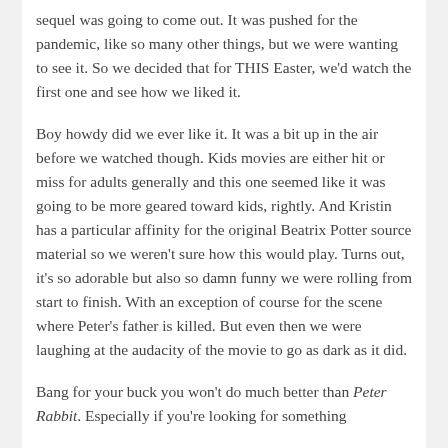sequel was going to come out. It was pushed for the pandemic, like so many other things, but we were wanting to see it. So we decided that for THIS Easter, we'd watch the first one and see how we liked it.
Boy howdy did we ever like it. It was a bit up in the air before we watched though. Kids movies are either hit or miss for adults generally and this one seemed like it was going to be more geared toward kids, rightly. And Kristin has a particular affinity for the original Beatrix Potter source material so we weren't sure how this would play. Turns out, it's so adorable but also so damn funny we were rolling from start to finish. With an exception of course for the scene where Peter's father is killed. But even then we were laughing at the audacity of the movie to go as dark as it did.
Bang for your buck you won't do much better than Peter Rabbit. Especially if you're looking for something